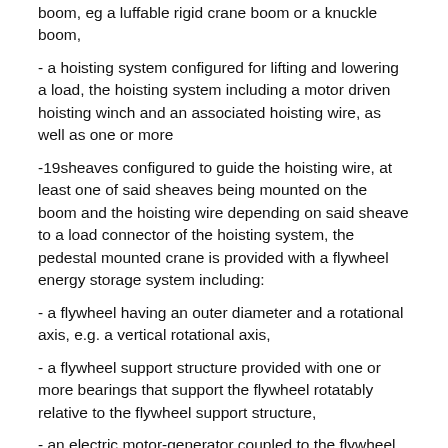boom, eg a luffable rigid crane boom or a knuckle boom,
- a hoisting system configured for lifting and lowering a load, the hoisting system including a motor driven hoisting winch and an associated hoisting wire, as well as one or more
-19sheaves configured to guide the hoisting wire, at least one of said sheaves being mounted on the boom and the hoisting wire depending on said sheave to a load connector of the hoisting system, the pedestal mounted crane is provided with a flywheel energy storage system including:
- a flywheel having an outer diameter and a rotational axis, e.g. a vertical rotational axis,
- a flywheel support structure provided with one or more bearings that support the flywheel rotatably relative to the flywheel support structure,
- an electric motor-generator coupled to the flywheel, at least the flywheel and the flywheel support structure are mounted in the pedestal and / or in the optional pedestal extender, eg at least the flywheel fully within the pedestal